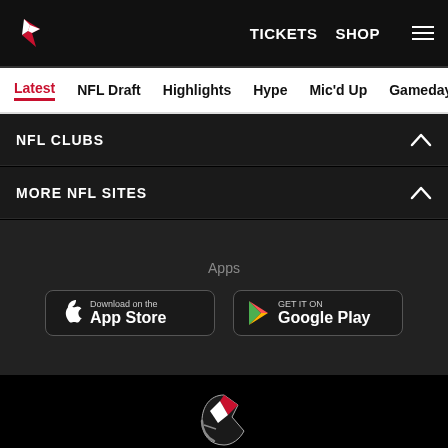Atlanta Falcons — TICKETS  SHOP  [menu]
Latest | NFL Draft | Highlights | Hype | Mic'd Up | Gameday | Pod
NFL CLUBS
MORE NFL SITES
Apps
[Figure (logo): Download on the App Store button]
[Figure (logo): Get it on Google Play button]
[Figure (logo): Atlanta Falcons helmet logo (white/red/black)]
© Atlanta Falcons Football Club – 2021
PRIVACY POLICY
EMPLOYMENT